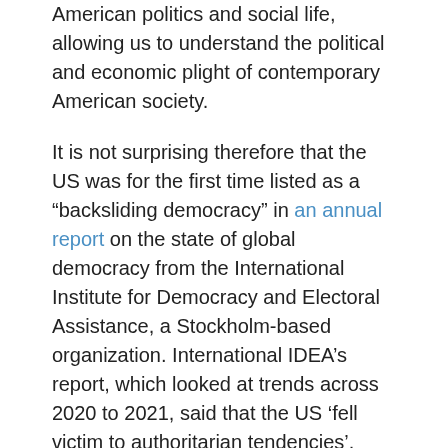American politics and social life, allowing us to understand the political and economic plight of contemporary American society.
It is not surprising therefore that the US was for the first time listed as a “backsliding democracy” in an annual report on the state of global democracy from the International Institute for Democracy and Electoral Assistance, a Stockholm-based organization. International IDEA’s report, which looked at trends across 2020 to 2021, said that the US ‘fell victim to authoritarian tendencies’.
Law enforcement is a mirror of any democracy. With some law enforcement actions coming under close scrutiny and considered excessive by many human rights movement organizations in the United States, the same is mirrored in our Kenyan context. While in America such criticism stems